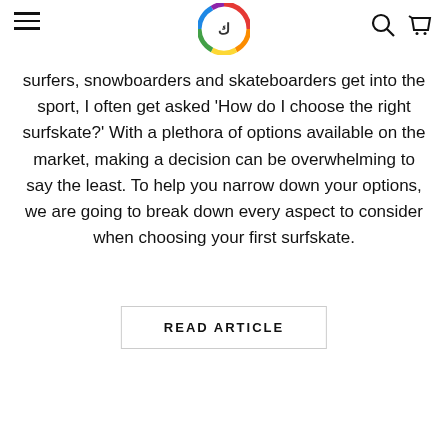[hamburger menu] [logo] [search] [cart]
surfers, snowboarders and skateboarders get into the sport, I often get asked ‘How do I choose the right surfskate?’ With a plethora of options available on the market, making a decision can be overwhelming to say the least. To help you narrow down your options, we are going to break down every aspect to consider when choosing your first surfskate.
READ ARTICLE